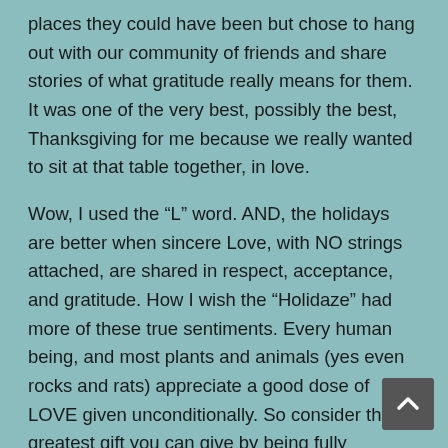places they could have been but chose to hang out with our community of friends and share stories of what gratitude really means for them. It was one of the very best, possibly the best, Thanksgiving for me because we really wanted to sit at that table together, in love.
Wow, I used the “L” word. AND, the holidays are better when sincere Love, with NO strings attached, are shared in respect, acceptance, and gratitude. How I wish the “Holidaze” had more of these true sentiments. Every human being, and most plants and animals (yes even rocks and rats) appreciate a good dose of LOVE given unconditionally. So consider the greatest gift you can give by being fully “present” and finding a way to celebrate the beauty and perfection of the soul who stands in front of you. Reduce or eliminate your judgement and find the Divine Spirit reflected back at you!!! Warm yourself in the Brilliant Light and Warmth which burns in the fellow pilgrim wh...